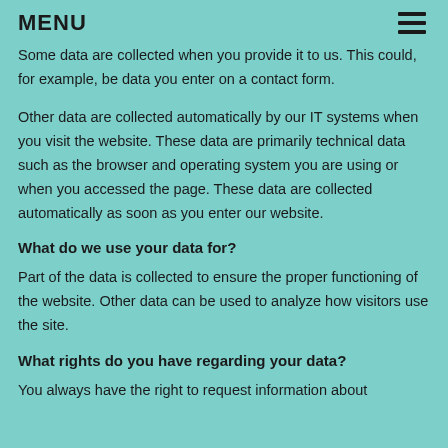MENU
Some data are collected when you provide it to us. This could, for example, be data you enter on a contact form.
Other data are collected automatically by our IT systems when you visit the website. These data are primarily technical data such as the browser and operating system you are using or when you accessed the page. These data are collected automatically as soon as you enter our website.
What do we use your data for?
Part of the data is collected to ensure the proper functioning of the website. Other data can be used to analyze how visitors use the site.
What rights do you have regarding your data?
You always have the right to request information about...